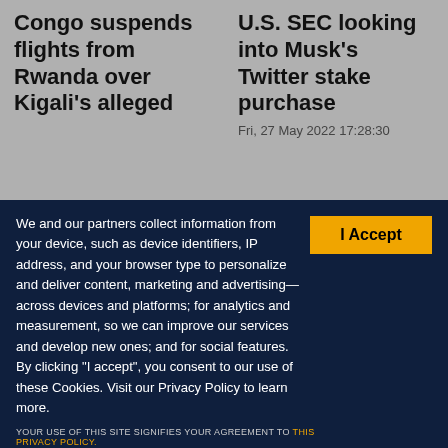Congo suspends flights from Rwanda over Kigali's alleged
U.S. SEC looking into Musk's Twitter stake purchase
Fri, 27 May 2022 17:28:30
We and our partners collect information from your device, such as device identifiers, IP address, and your browser type to personalize and deliver content, marketing and advertising—across devices and platforms; for analytics and measurement, so we can improve our services and develop new ones; and for social features. By clicking “I accept”, you consent to our use of these Cookies. Visit our Privacy Policy to learn more.
I Accept
YOUR USE OF THIS SITE SIGNIFIES YOUR AGREEMENT TO THIS PRIVACY POLICY.